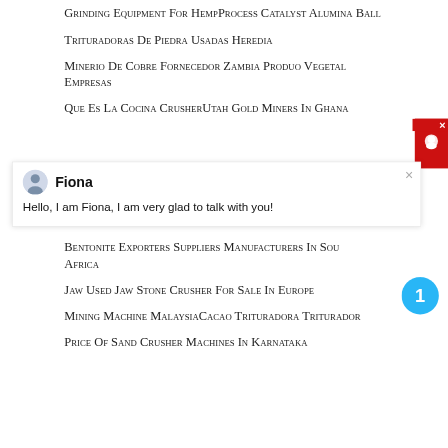Grinding Equipment For HempProcess Catalyst Alumina Ball
Trituradoras De Piedra Usadas Heredia
Minerio De Cobre Fornecedor Zambia Produo Vegetal Empresas
Que Es La Cocina CrusherUtah Gold Miners In Ghana
[Figure (screenshot): Chat popup with avatar of Fiona and message: Hello, I am Fiona, I am very glad to talk with you!]
Low Cost Jaw Crusher For Sale In Ethiopia
Bentonite Exporters Suppliers Manufacturers In South Africa
Jaw Used Jaw Stone Crusher For Sale In Europe
Mining Machine MalaysiaCacao Trituradora Triturador
Price Of Sand Crusher Machines In Karnataka